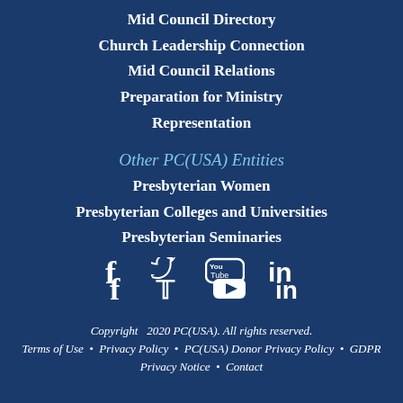Mid Council Directory
Church Leadership Connection
Mid Council Relations
Preparation for Ministry
Representation
Other PC(USA) Entities
Presbyterian Women
Presbyterian Colleges and Universities
Presbyterian Seminaries
[Figure (infographic): Social media icons: Facebook, Twitter, YouTube, LinkedIn]
Copyright   2020 PC(USA). All rights reserved.
Terms of Use  •  Privacy Policy  •  PC(USA) Donor Privacy Policy  •  GDPR Privacy Notice  •  Contact